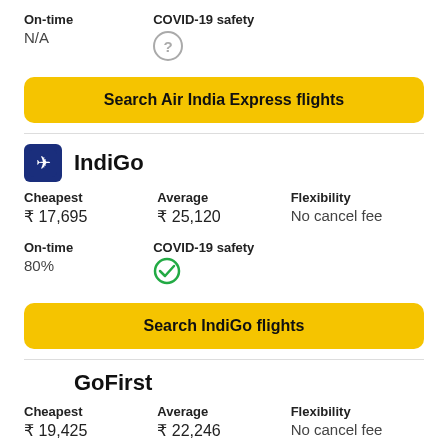On-time
N/A
COVID-19 safety
(?)
Search Air India Express flights
IndiGo
Cheapest
₹ 17,695
Average
₹ 25,120
Flexibility
No cancel fee
On-time
80%
COVID-19 safety
✓
Search IndiGo flights
GoFirst
Cheapest
₹ 19,425
Average
₹ 22,246
Flexibility
No cancel fee
On-time
COVID-19 safety